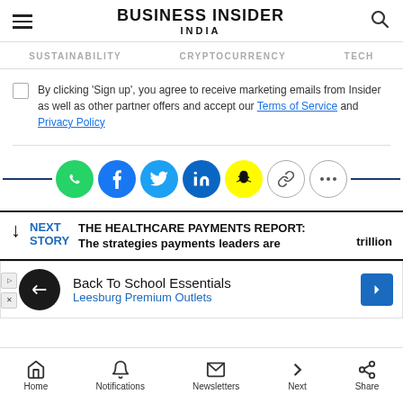BUSINESS INSIDER INDIA
SUSTAINABILITY   CRYPTOCURRENCY   TECH
By clicking 'Sign up', you agree to receive marketing emails from Insider as well as other partner offers and accept our Terms of Service and Privacy Policy
[Figure (infographic): Social share icons: WhatsApp, Facebook, Twitter, LinkedIn, Snapchat, Link, More]
NEXT STORY   THE HEALTHCARE PAYMENTS REPORT: The strategies payments leaders are ...trillion
[Figure (infographic): Advertisement: Back To School Essentials, Leesburg Premium Outlets]
Home   Notifications   Newsletters   Next   Share